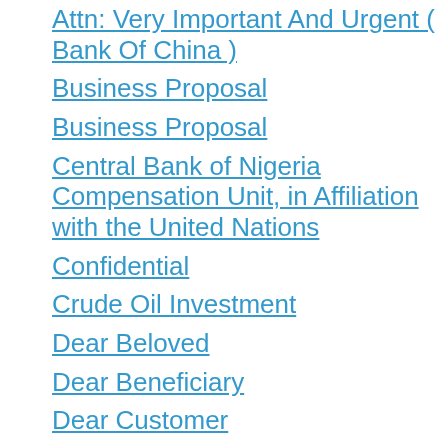Attn: Very Important And Urgent ( Bank Of China )
Business Proposal
Business Proposal
Central Bank of Nigeria Compensation Unit, in Affiliation with the United Nations
Confidential
Crude Oil Investment
Dear Beloved
Dear Beneficiary
Dear Customer
Dear Friend
Dear Friend
Dear Sir / Madam Please Read
Dearest Beloved (truncated)